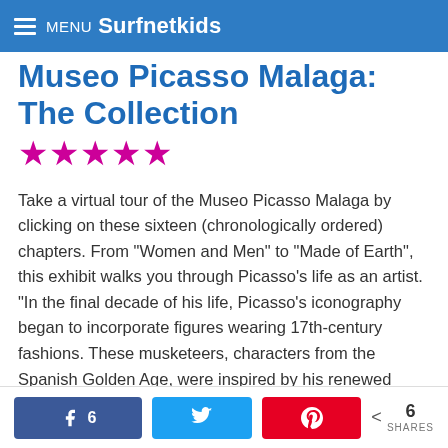MENU Surfnetkids
Museo Picasso Malaga: The Collection
★★★★★
Take a virtual tour of the Museo Picasso Malaga by clicking on these sixteen (chronologically ordered) chapters. From "Women and Men" to "Made of Earth", this exhibit walks you through Picasso's life as an artist. "In the final decade of his life, Picasso's iconography began to incorporate figures wearing 17th-century fashions. These musketeers, characters from the Spanish Golden Age, were inspired by his renewed interest in Rembrandt and Velázquez."
6 (Facebook shares) | Twitter share | Pinterest share | < 6 SHARES